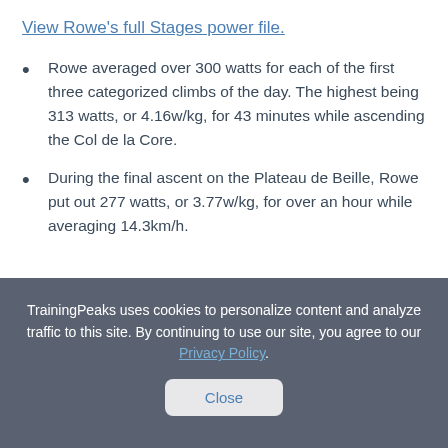View Rowe's full Stages power file.
Rowe averaged over 300 watts for each of the first three categorized climbs of the day. The highest being 313 watts, or 4.16w/kg, for 43 minutes while ascending the Col de la Core.
During the final ascent on the Plateau de Beille, Rowe put out 277 watts, or 3.77w/kg, for over an hour while averaging 14.3km/h.
TrainingPeaks uses cookies to personalize content and analyze traffic to this site. By continuing to use our site, you agree to our Privacy Policy.
Close